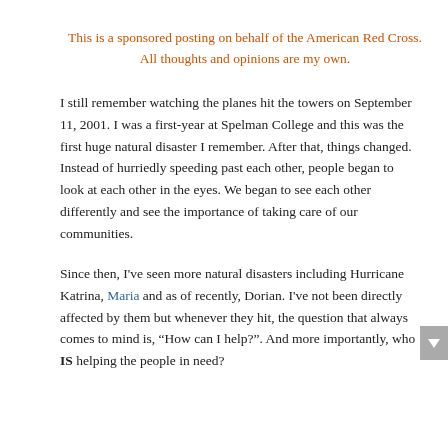This is a sponsored posting on behalf of the American Red Cross. All thoughts and opinions are my own.
I still remember watching the planes hit the towers on September 11, 2001. I was a first-year at Spelman College and this was the first huge natural disaster I remember. After that, things changed. Instead of hurriedly speeding past each other, people began to look at each other in the eyes. We began to see each other differently and see the importance of taking care of our communities.
Since then, I've seen more natural disasters including Hurricane Katrina, Maria and as of recently, Dorian. I've not been directly affected by them but whenever they hit, the question that always comes to mind is, “How can I help?”. And more importantly, who IS helping the people in need?